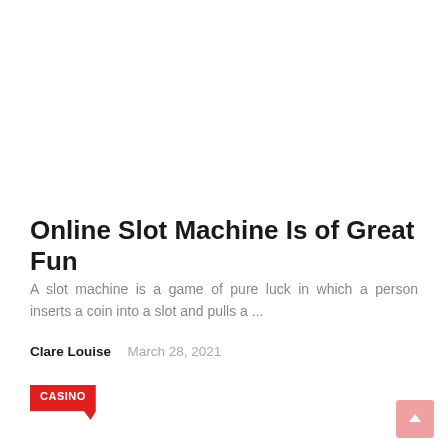Online Slot Machine Is of Great Fun
A slot machine is a game of pure luck in which a person inserts a coin into a slot and pulls a ...
Clare Louise   March 28, 2021
CASINO